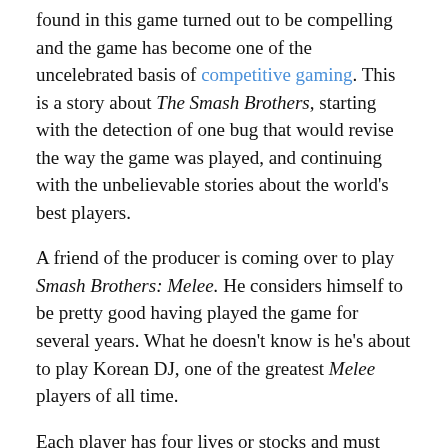found in this game turned out to be compelling and the game has become one of the uncelebrated basis of competitive gaming. This is a story about The Smash Brothers, starting with the detection of one bug that would revise the way the game was played, and continuing with the unbelievable stories about the world's best players.
A friend of the producer is coming over to play Smash Brothers: Melee. He considers himself to be pretty good having played the game for several years. What he doesn't know is he's about to play Korean DJ, one of the greatest Melee players of all time.
Each player has four lives or stocks and must take all of his opponent stocks to win. KDJ will lose three on purpose, and then he'll start to play... for real. KDJ then invited the cameraman to fight... and then the producer. How is it possible for someone to be so fast and so